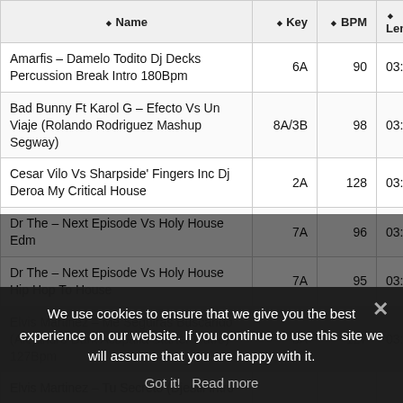| Name | Key | BPM | Len… |
| --- | --- | --- | --- |
| Amarfis – Damelo Todito Dj Decks Percussion Break Intro 180Bpm | 6A | 90 | 03:… |
| Bad Bunny Ft Karol G – Efecto Vs Un Viaje (Rolando Rodriguez Mashup Segway) | 8A/3B | 98 | 03:… |
| Cesar Vilo Vs Sharpside' Fingers Inc Dj Deroa My Critical House | 2A | 128 | 03:… |
| Dr The – Next Episode Vs Holy House Edm | 7A | 96 | 03:… |
| Dr The – Next Episode Vs Holy House Hip Hop To House | 7A | 95 | 03:… |
| Elvis Martinez – Me Seguiras Buscando (Alejandro Dark Acapalla Starter Outro) 127Bpm | 8A | 127 | 03:… |
| Elvis Martinez – Tu Secreto (Djestil Intro… |  |  | … |
We use cookies to ensure that we give you the best experience on our website. If you continue to use this site we will assume that you are happy with it.
Got it!   Read more